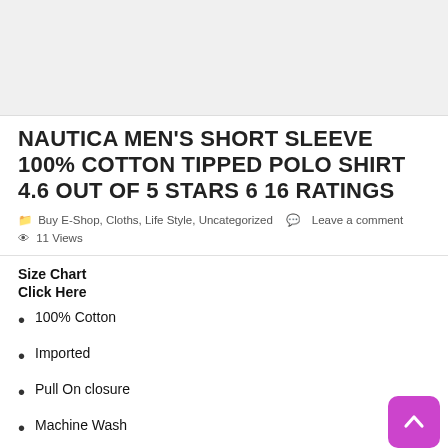NAUTICA MEN'S SHORT SLEEVE 100% COTTON TIPPED POLO SHIRT 4.6 OUT OF 5 STARS 6 16 RATINGS
Buy E-Shop, Cloths, Life Style, Uncategorized   Leave a comment   11 Views
Size Chart
Click Here
100% Cotton
Imported
Pull On closure
Machine Wash
Sporty polo collar with a buttoned placket